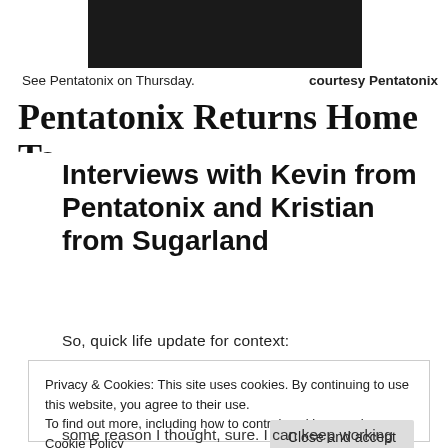[Figure (photo): Partial photo of people (Pentatonix group), dark clothing, cropped at top]
See Pentatonix on Thursday.    courtesy Pentatonix
Pentatonix Returns Home To
Interviews with Kevin from Pentatonix and Kristian from Sugarland
So, quick life update for context:
Privacy & Cookies: This site uses cookies. By continuing to use this website, you agree to their use.
To find out more, including how to control cookies, see here: Cookie Policy
some reason I thought, sure. I can keep working